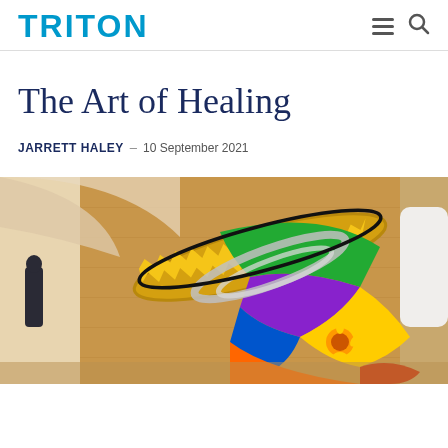TRITON
The Art of Healing
JARRETT HALEY – 10 September 2021
[Figure (photo): A colorful large metallic and painted sculpture with spiraling golden and multicolored surfaces displayed in the lobby of a modern building with warm wood-paneled walls and curved ceiling. A silhouette of a person is visible in the background.]